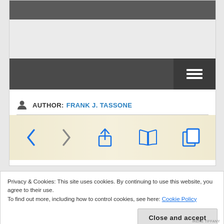[Figure (screenshot): Top portion of a website/blog page showing a dark gray header bar, a lighter gray area, a navigation bar with hamburger menu icon on the right side]
AUTHOR: FRANK J. TASSONE
[Figure (screenshot): Navigation toolbar with back arrow, forward arrow, share icon, book/library icon, and copy/duplicate icon, on a light yellow-beige gradient background]
Privacy & Cookies: This site uses cookies. By continuing to use this website, you agree to their use.
To find out more, including how to control cookies, see here: Cookie Policy
Close and accept
IRENE TIFFANY